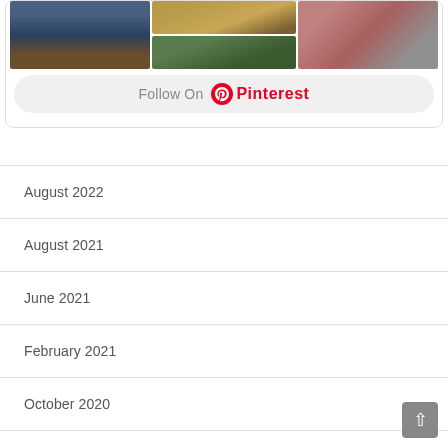[Figure (screenshot): Pinterest widget showing a grid of three photos (bar stools/interior, tent/camping, raw meat) with a 'Follow On Pinterest' button below]
August 2022
August 2021
June 2021
February 2021
October 2020
September 2020
May 2020
November 2019